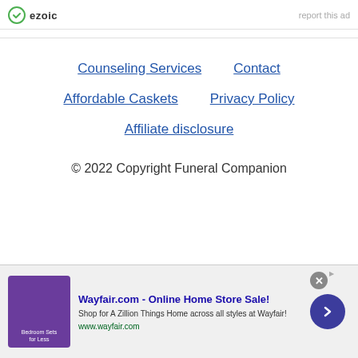ezoic   report this ad
Counseling Services
Contact
Affordable Caskets
Privacy Policy
Affiliate disclosure
© 2022 Copyright Funeral Companion
[Figure (screenshot): Wayfair.com advertisement banner: 'Wayfair.com - Online Home Store Sale! Shop for A Zillion Things Home across all styles at Wayfair! www.wayfair.com' with purple bedroom furniture image and blue arrow button.]